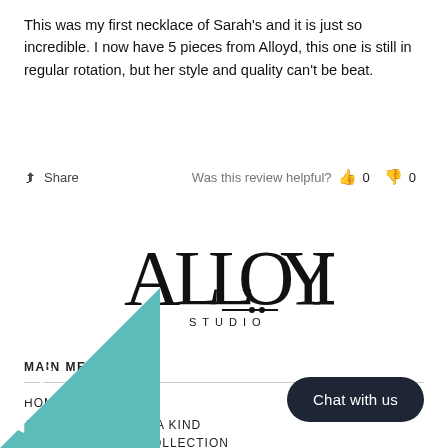This was my first necklace of Sarah's and it is just so incredible. I now have 5 pieces from Alloyd, this one is still in regular rotation, but her style and quality can't be beat.
Share   Was this review helpful?  👍 0  👎 0
[Figure (logo): Alloyd Studio logo in black lettering]
MAIN MENU
HOME
AVAILABLE ONE OF A KIND
MADE TO ORDER COLLECTION
ONE OF A KIND
ICTS